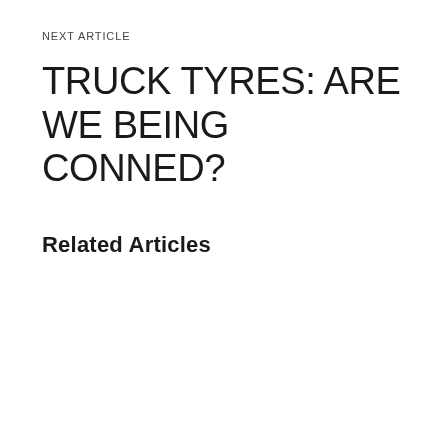NEXT ARTICLE
TRUCK TYRES: ARE WE BEING CONNED?
Related Articles